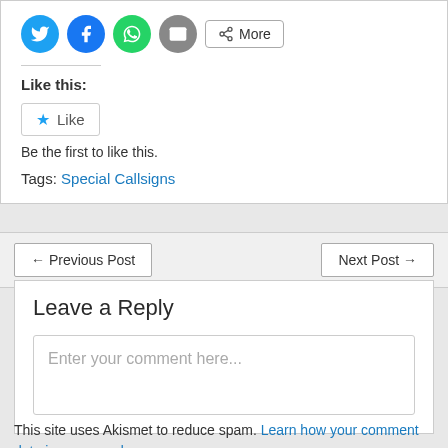[Figure (infographic): Social share buttons: Twitter (blue circle), Facebook (blue circle), WhatsApp (green circle), Email (gray circle), and a More button]
Like this:
[Figure (infographic): Like button with blue star icon and text 'Like']
Be the first to like this.
Tags: Special Callsigns
← Previous Post
Next Post →
Leave a Reply
Enter your comment here...
This site uses Akismet to reduce spam. Learn how your comment data is processed.